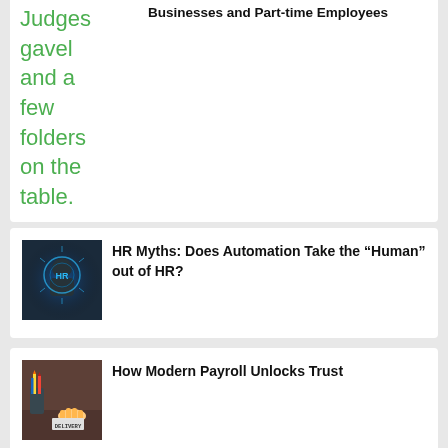Judges gavel and a few folders on the table.
Businesses and Part-time Employees
[Figure (photo): Person interacting with a glowing digital HR interface hologram on a dark background]
HR Myths: Does Automation Take the “Human” out of HR?
[Figure (photo): Desk with pencils in a holder and hands near a DELIVERY sign on a wooden surface]
How Modern Payroll Unlocks Trust